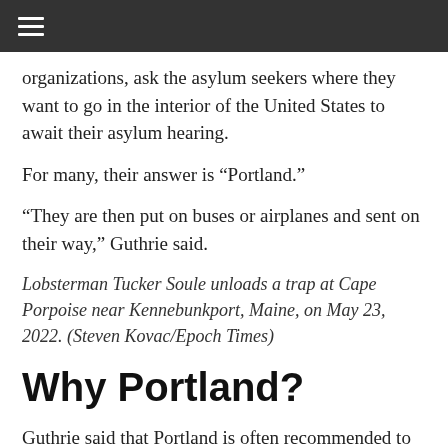≡
organizations, ask the asylum seekers where they want to go in the interior of the United States to await their asylum hearing.
For many, their answer is “Portland.”
“They are then put on buses or airplanes and sent on their way,” Guthrie said.
Lobsterman Tucker Soule unloads a trap at Cape Porpoise near Kennebunkport, Maine, on May 23, 2022. (Steven Kovac/Epoch Times)
Why Portland?
Guthrie said that Portland is often recommended to people enroute to the United States by relatives